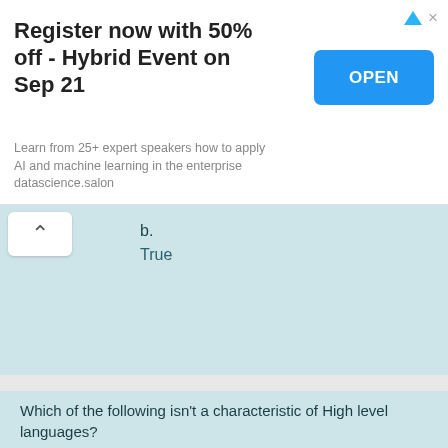[Figure (other): Advertisement banner: Register now with 50% off - Hybrid Event on Sep 21. Learn from 25+ expert speakers how to apply AI and machine learning in the enterprise datascience.salon. Blue OPEN button.]
b. True
Which of the following isn't a characteristic of High level languages?
Select one:
a. interactive execution
b. user-friendly
c. machine code